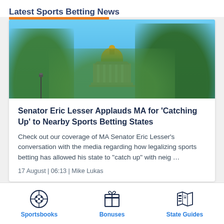Latest Sports Betting News
[Figure (photo): Aerial/street-level photo of a state capitol building with golden dome surrounded by green trees and blue sky]
Senator Eric Lesser Applauds MA for ‘Catching Up’ to Nearby Sports Betting States
Check out our coverage of MA Senator Eric Lesser’s conversation with the media regarding how legalizing sports betting has allowed his state to “catch up” with neig …
17 August | 06:13 | Mike Lukas
[Figure (infographic): Navigation icons: soccer ball (Sportsbooks), gift box (Bonuses), map with flag (State Guides)]